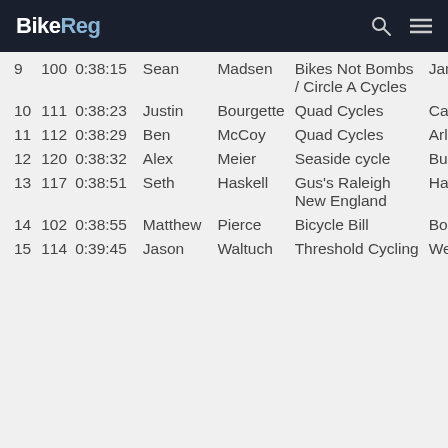BikeReg
| Place | Bib | Time | First | Last | Team | City | State |
| --- | --- | --- | --- | --- | --- | --- | --- |
| 9 | 100 | 0:38:15 | Sean | Madsen | Bikes Not Bombs / Circle A Cycles | Jamaica Plain | MA |
| 10 | 111 | 0:38:23 | Justin | Bourgette | Quad Cycles | Cambridge | MA |
| 11 | 112 | 0:38:29 | Ben | McCoy | Quad Cycles | Arlington | MA |
| 12 | 120 | 0:38:32 | Alex | Meier | Seaside cycle | Burlington | MA |
| 13 | 117 | 0:38:51 | Seth | Haskell | Gus's Raleigh New England | Hampton | NH |
| 14 | 102 | 0:38:55 | Matthew | Pierce | Bicycle Bill | Boston | MA |
| 15 | 114 | 0:39:45 | Jason | Waltuch | Threshold Cycling | Weston | MA |